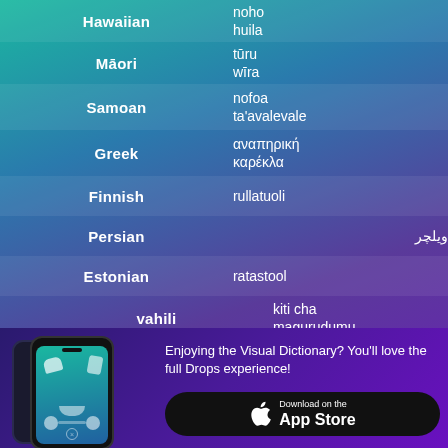Hawaiian — noho huila
Māori — tūru wīra
Samoan — nofoa ta'avalevale
Greek — αναπηρική καρέκλα
Finnish — rullatuoli
Persian — ویلچر
Estonian — ratastool
Swahili — kiti cha magurudumu
[Figure (screenshot): Drops app screenshot on mobile phone]
Enjoying the Visual Dictionary? You'll love the full Drops experience!
Download on the App Store